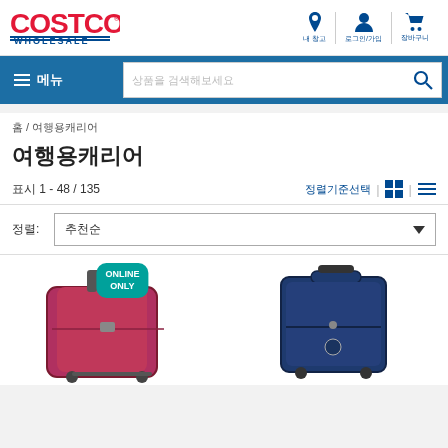[Figure (logo): Costco Wholesale logo in red and blue]
내 창고 / 로그인/가입 / 장바구니 navigation icons
메뉴 (hamburger menu button) and search bar with placeholder 상품을 검색해보세요
홈 / 여행용캐리어
여행용캐리어
표시 1 - 48 / 135
정렬기준선택 (view grid/list icons)
정렬: 추천순
[Figure (photo): Red hard-shell rolling suitcase product image with ONLINE ONLY badge]
[Figure (photo): Navy blue soft-shell rolling suitcase product image]